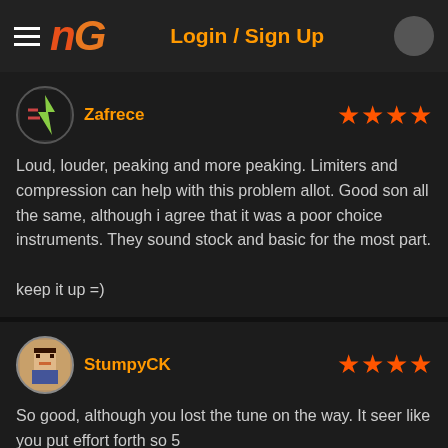NG Login / Sign Up
Zafrece
Loud, louder, peaking and more peaking. Limiters and compression can help with this problem allot. Good song all the same, although i agree that it was a poor choice instruments. They sound stock and basic for the most part.

keep it up =)
StumpyCK
So good, although you lost the tune on the way. It seem like you put effort forth so 5